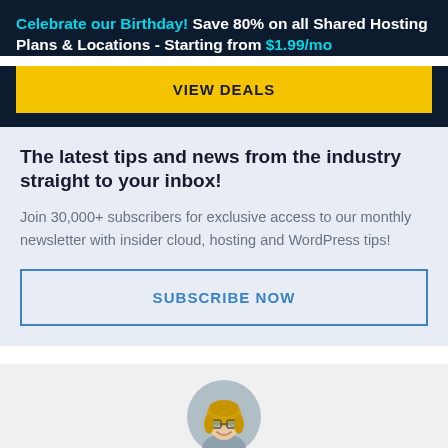Celebrate our Birthday! Save 80% on all Shared Hosting Plans & Locations - Starting from $1.99/mo
VIEW DEALS
The latest tips and news from the industry straight to your inbox!
Join 30,000+ subscribers for exclusive access to our monthly newsletter with insider cloud, hosting and WordPress tips!
SUBSCRIBE NOW
[Figure (photo): Circular profile photo of a blonde woman with glasses, smiling]